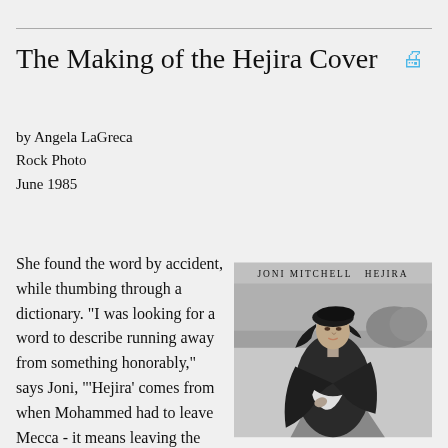The Making of the Hejira Cover 🖨
by Angela LaGreca
Rock Photo
June 1985
She found the word by accident, while thumbing through a dictionary. "I was looking for a word to describe running away from something honorably," says Joni, "'Hejira' comes from when Mohammed had to leave Mecca - it means leaving the dream, no blame." After a series of
[Figure (photo): Black and white photo of Joni Mitchell wearing a black beret and dark clothing, walking on a road. Text at top reads 'JONI MITCHELL  HEJIRA' — the Hejira album cover.]